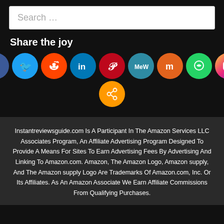Search …
Share the joy
[Figure (infographic): Row of social media share icons: Facebook, Twitter, Reddit, LinkedIn, Pinterest, MeWe, Mix, WhatsApp, Instagram, and a generic share button below]
Instantreviewsguide.com Is A Participant In The Amazon Services LLC Associates Program, An Affiliate Advertising Program Designed To Provide A Means For Sites To Earn Advertising Fees By Advertising And Linking To Amazon.com. Amazon, The Amazon Logo, Amazon supply, And The Amazon supply Logo Are Trademarks Of Amazon.com, Inc. Or Its Affiliates. As An Amazon Associate We Earn Affiliate Commissions From Qualifying Purchases.